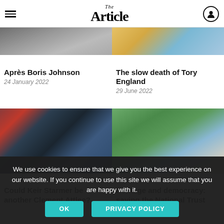The Article
Après Boris Johnson
24 January 2022
The slow death of Tory England
29 June 2022
[Figure (photo): Person speaking at parliament dispatch box, others seated behind]
[Figure (photo): Wooden post with carved fleur-de-lis symbol, coastal hillside in background]
Could Keir Starmer be another Clement Attlee?
Heritage and democracy: saving the National Trust
We use cookies to ensure that we give you the best experience on our website. If you continue to use this site we will assume that you are happy with it.